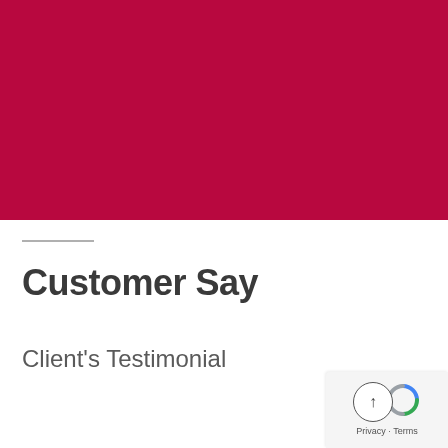[Figure (illustration): Solid crimson/dark red rectangular color block filling the top half of the page]
Customer Say
Client's Testimonial
[Figure (logo): Small badge in bottom-right corner with a circular arrow-up button and a Google reCAPTCHA-style arc icon, with 'Privacy · Terms' text below]